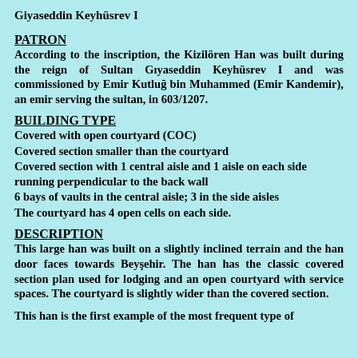Giyaseddin Keyhüsrev I
PATRON
According to the inscription, the Kizilören Han was built during the reign of Sultan Gıyaseddin Keyhüsrev I and was commissioned by Emir Kutluğ bin Muhammed (Emir Kandemir), an emir serving the sultan, in 603/1207.
BUILDING TYPE
Covered with open courtyard (COC)
Covered section smaller than the courtyard
Covered section with 1 central aisle and 1 aisle on each side running perpendicular to the back wall
6 bays of vaults in the central aisle; 3 in the side aisles
The courtyard has 4 open cells on each side.
DESCRIPTION
This large han was built on a slightly inclined terrain and the han door faces towards Beyşehir. The han has the classic covered section plan used for lodging and an open courtyard with service spaces. The courtyard is slightly wider than the covered section.
This han is the first example of the most frequent type of